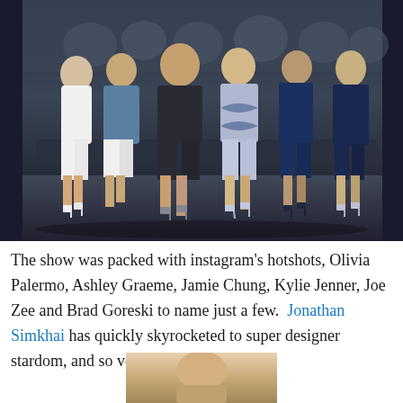[Figure (photo): A group of celebrities seated in the front row at a fashion show. Women are dressed in various outfits including navy blue, white, and patterned dresses. They are all wearing heels.]
The show was packed with instagram's hotshots, Olivia Palermo, Ashley Graeme, Jamie Chung, Kylie Jenner, Joe Zee and Brad Goreski to name just a few.  Jonathan Simkhai has quickly skyrocketed to super designer stardom, and so very deservingly.
[Figure (photo): Partial photo at the bottom of the page, cropped.]